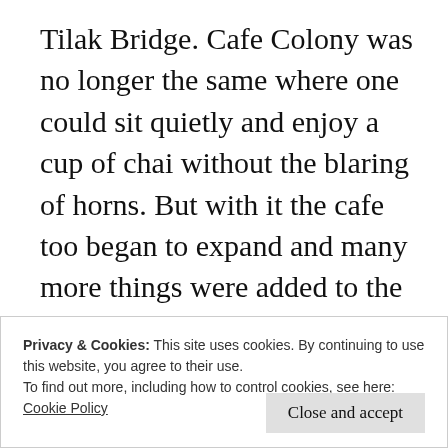Tilak Bridge. Cafe Colony was no longer the same where one could sit quietly and enjoy a cup of chai without the blaring of horns. But with it the cafe too began to expand and many more things were added to the cafe besides bakery products and tea accompaniments.Nearer to Cafe Colony (two shops away) Agha’s family purchased another corner shop called Bakery and Candy Store, which did a brisk business for
Privacy & Cookies: This site uses cookies. By continuing to use this website, you agree to their use.
To find out more, including how to control cookies, see here:
Cookie Policy
Close and accept